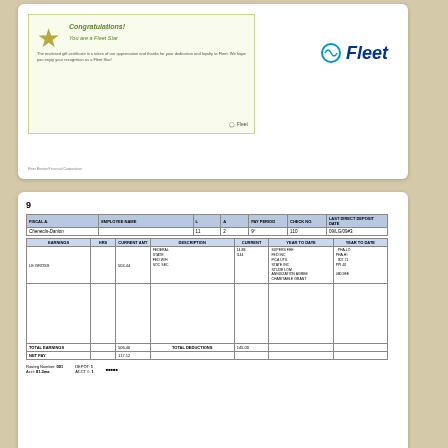[Figure (other): Fleet Bank congratulations promotional card with star logo and Fleet branding]
[Figure (other): Payroll stub page 9 showing earnings, deductions, and employee information for Chenecla-Danion]
[Figure (other): Notification of Deposit from First National Bank showing net deposit amount ***$317.12 for Chenecla-Danion]
10